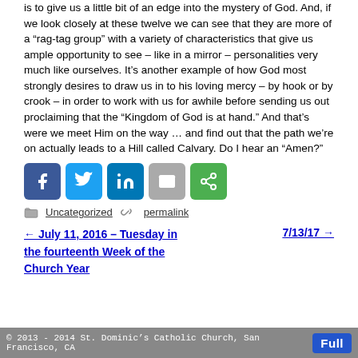is to give us a little bit of an edge into the mystery of God. And, if we look closely at these twelve we can see that they are more of a “rag-tag group” with a variety of characteristics that give us ample opportunity to see – like in a mirror – personalities very much like ourselves. It’s another example of how God most strongly desires to draw us in to his loving mercy – by hook or by crook – in order to work with us for awhile before sending us out proclaiming that the “Kingdom of God is at hand.” And that’s were we meet Him on the way … and find out that the path we’re on actually leads to a Hill called Calvary. Do I hear an “Amen?”
[Figure (other): Social sharing buttons: Facebook, Twitter, LinkedIn, Email, Share]
Uncategorized   permalink
← July 11, 2016 – Tuesday in the fourteenth Week of the Church Year    7/13/17 →
© 2013 - 2014 St. Dominic’s Catholic Church, San Francisco, CA   Full